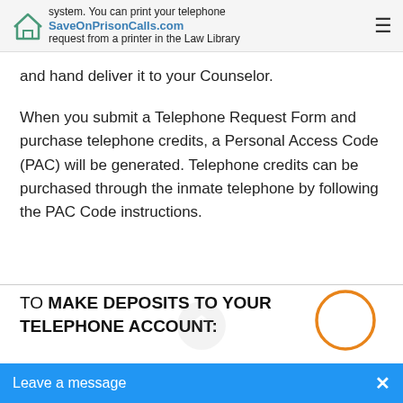SaveOnPrisonCalls.com — system. You can print your telephone request from a printer in the Law Library
and hand deliver it to your Counselor.
When you submit a Telephone Request Form and purchase telephone credits, a Personal Access Code (PAC) will be generated. Telephone credits can be purchased through the inmate telephone by following the PAC Code instructions.
TO MAKE DEPOSITS TO YOUR TELEPHONE ACCOUNT:
To access your telephone account for information and transfers, dia